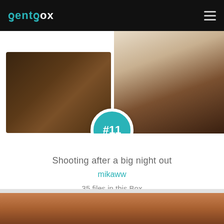BentBox
[Figure (photo): Two-photo collage: left photo shows a woman in a dark hotel room, right photo shows a woman near a light-colored couch]
#11
Shooting after a big night out
mikaww
35 files in this Box
[Figure (photo): Close-up photo of skin and a black bra strap]